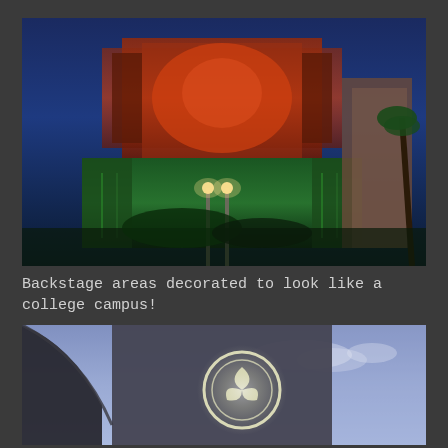[Figure (photo): Night-time photo of a large themed attraction building with red and orange illuminated upper structure, green circuit-board style lower facade, and bright lamp posts in front. Dark blue sky in background with palm tree visible on the right.]
Backstage areas decorated to look like a college campus!
[Figure (photo): Photo of a modern building exterior at dusk with a glowing circular emblem/logo on its facade against a blue sky with light clouds. A curved dark architectural element is visible on the left.]